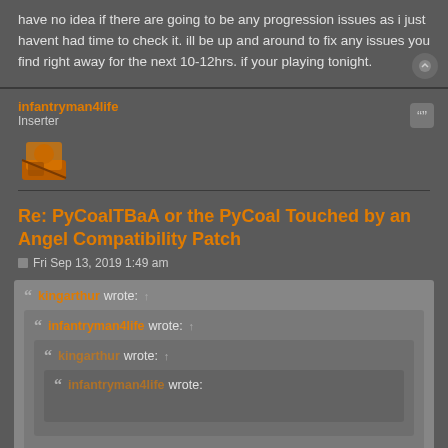have no idea if there are going to be any progression issues as i just havent had time to check it. ill be up and around to fix any issues you find right away for the next 10-12hrs. if your playing tonight.
infantryman4life
Inserter
Re: PyCoalTBaA or the PyCoal Touched by an Angel Compatibility Patch
Fri Sep 13, 2019 1:49 am
kingarthur wrote: ↑
infantryman4life wrote: ↑
kingarthur wrote: ↑
infantryman4life wrote: